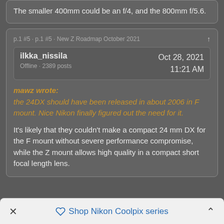The smaller 400mm could be an f/4, and the 800mm f/5.6.
p.1 #5 · p.1 #5 · New Z Roadmap October 2021
ilkka_nissila
Offline · 2389 posts
Oct 28, 2021
11:21 AM
mawz wrote:
the 24DX should have been released in about 2006 in F mount. Nice Nikon finally figured out the need for it.
It's likely that they couldn't make a compact 24 mm DX for the F mount without severe performance compromise, while the Z mount allows high quality in a compact short focal length lens.
Shop Nikon Coolpix series